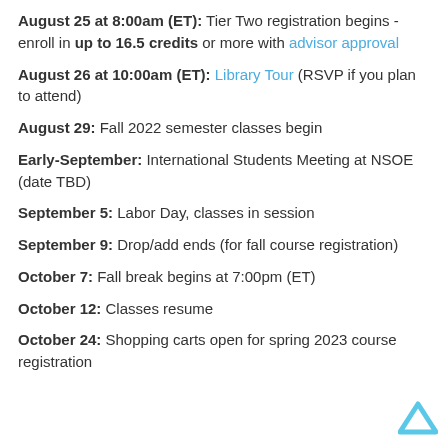August 25 at 8:00am (ET): Tier Two registration begins - enroll in up to 16.5 credits or more with advisor approval
August 26 at 10:00am (ET): Library Tour (RSVP if you plan to attend)
August 29: Fall 2022 semester classes begin
Early-September: International Students Meeting at NSOE (date TBD)
September 5: Labor Day, classes in session
September 9: Drop/add ends (for fall course registration)
October 7: Fall break begins at 7:00pm (ET)
October 12: Classes resume
October 24: Shopping carts open for spring 2023 course registration